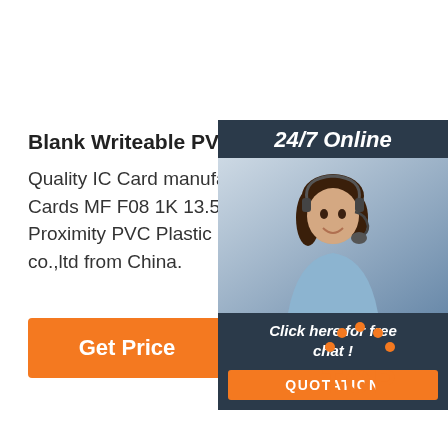Blank Writeable PVC Smart Cards MF F08 1K 13.56
Quality IC Card manufacturer provide Blank Writeable PVC Smart Cards MF F08 1K 13.56MHz 1k white Access Control Proximity PVC Plastic IC Card, Shenzhen lex smart co.,ltd from China.
[Figure (other): Orange 'Get Price' button]
[Figure (other): Right-side chat panel with '24/7 Online' badge, agent photo, 'Click here for free chat!' text, and orange QUOTATION button]
[Figure (logo): Orange TOP logo with dot pattern forming an arch over the word TOP]